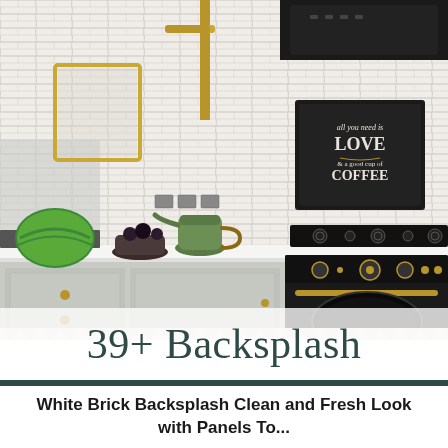[Figure (photo): A bright, airy kitchen interior with white painted brick backsplash, white cabinetry with brass hardware, a black vintage-style oven built into the lower cabinets, a black gas cooktop, a green retro electric kettle on the counter, a bowl of dark fruit, a watermelon, a black range hood, gold pendant pipe fixtures, a black chalkboard sign reading 'All you need is LOVE & a good cup of COFFEE', and patterned tile flooring visible at the bottom.]
39+ Backsplash
White Brick Backsplash Clean and Fresh Look with Panels To...